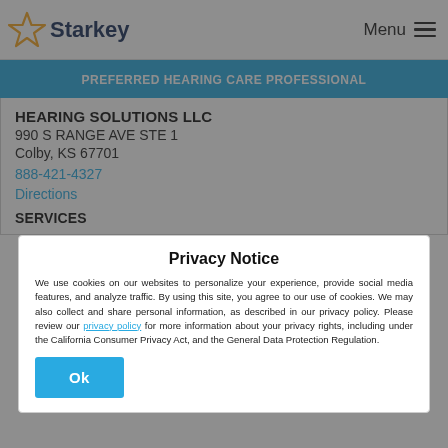[Figure (logo): Starkey logo: yellow star outline with 'Starkey' text in dark navy blue]
Menu ≡
PREFERRED HEARING CARE PROFESSIONAL
HEARING SOLUTIONS LLC
990 S RANGE AVE STE 1
Colby, KS 67701
888-421-4327
Directions
SERVICES
Privacy Notice
We use cookies on our websites to personalize your experience, provide social media features, and analyze traffic. By using this site, you agree to our use of cookies. We may also collect and share personal information, as described in our privacy policy. Please review our privacy policy for more information about your privacy rights, including under the California Consumer Privacy Act, and the General Data Protection Regulation.
Ok